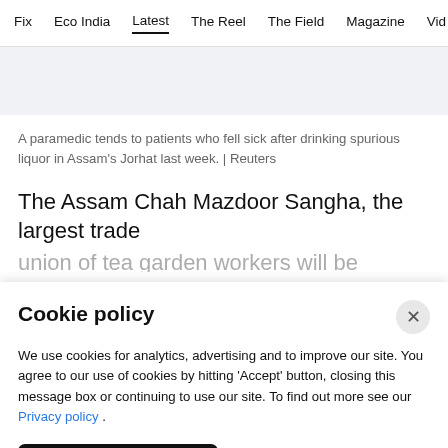Fix  Eco India  Latest  The Reel  The Field  Magazine  Vid
A paramedic tends to patients who fell sick after drinking spurious liquor in Assam's Jorhat last week. | Reuters
The Assam Chah Mazdoor Sangha, the largest trade
Cookie policy
We use cookies for analytics, advertising and to improve our site. You agree to our use of cookies by hitting 'Accept' button, closing this message box or continuing to use our site. To find out more see our Privacy policy .